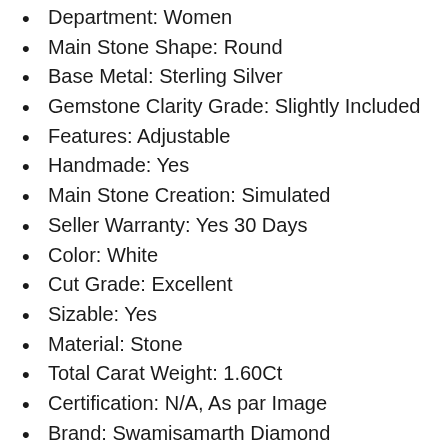Department: Women
Main Stone Shape: Round
Base Metal: Sterling Silver
Gemstone Clarity Grade: Slightly Included
Features: Adjustable
Handmade: Yes
Main Stone Creation: Simulated
Seller Warranty: Yes 30 Days
Color: White
Cut Grade: Excellent
Sizable: Yes
Material: Stone
Total Carat Weight: 1.60Ct
Certification: N/A, As par Image
Brand: Swamisamarth Diamond
Diamond Clarity Grade: Very, Very Slightly Included (VVS1)